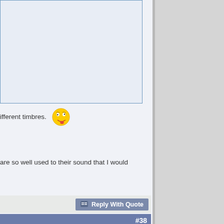[Figure (screenshot): A bordered image/content box partially visible at the top of the forum post]
ifferent timbres. [emoji: silly face]
are so well used to their sound that I would
Reply With Quote
#38
| Join Date: | Mar 2008 |
| Location: | Russian Federation |
| Posts: | 794 |
| Thanks: | 457 |